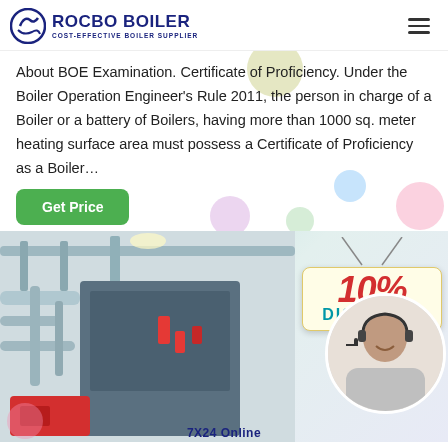ROCBO BOILER - COST-EFFECTIVE BOILER SUPPLIER
About BOE Examination. Certificate of Proficiency. Under the Boiler Operation Engineer's Rule 2011, the person in charge of a Boiler or a battery of Boilers, having more than 1000 sq. meter heating surface area must possess a Certificate of Proficiency as a Boiler…
Get Price
[Figure (photo): Industrial boiler system with pipes and machinery on the left, and a customer service agent (woman with headset smiling) on the right, with a 10% DISCOUNT badge and '7X24 Online' text at the bottom.]